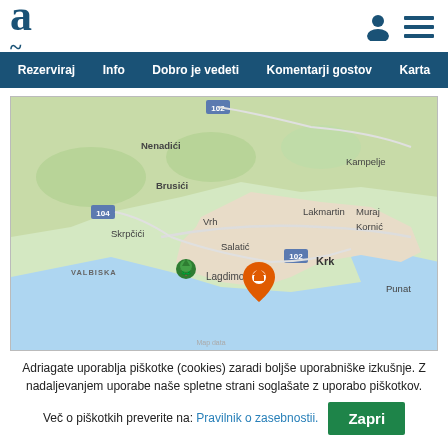[Figure (logo): Adriagate logo with stylized letter 'a' in dark teal]
Rezerviraj | Info | Dobro je vedeti | Komentarji gostov | Karta
[Figure (map): Google Maps screenshot showing Krk island area with place names: Nenadići, Brusići, Skrpčići, Vrh, Salatić, Kampelje, Lakmartin, Muraj, Kornić, VALBISKA, Lagdimor, Krk, Punat. Road labels 104, 102. Orange location pin near Krk town. Green Lagdimor marker.]
Adriagate uporablja piškotke (cookies) zaradi boljše uporabniške izkušnje. Z nadaljevanjem uporabe naše spletne strani soglašate z uporabo piškotkov.
Več o piškotkih preverite na: Pravilnik o zasebnostii.
Zapri